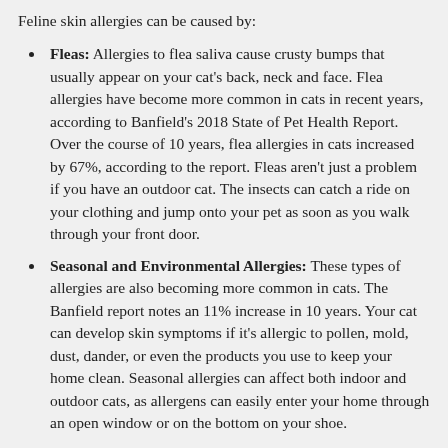Feline skin allergies can be caused by:
Fleas: Allergies to flea saliva cause crusty bumps that usually appear on your cat's back, neck and face. Flea allergies have become more common in cats in recent years, according to Banfield's 2018 State of Pet Health Report. Over the course of 10 years, flea allergies in cats increased by 67%, according to the report. Fleas aren't just a problem if you have an outdoor cat. The insects can catch a ride on your clothing and jump onto your pet as soon as you walk through your front door.
Seasonal and Environmental Allergies: These types of allergies are also becoming more common in cats. The Banfield report notes an 11% increase in 10 years. Your cat can develop skin symptoms if it's allergic to pollen, mold, dust, dander, or even the products you use to keep your home clean. Seasonal allergies can affect both indoor and outdoor cats, as allergens can easily enter your home through an open window or on the bottom on your shoe.
Food Allergies: Your pet's skin issues might be caused by an allergy to a pet food ingredient. Proteins like chicken and fish are most often responsible for allergic reactions in cats,